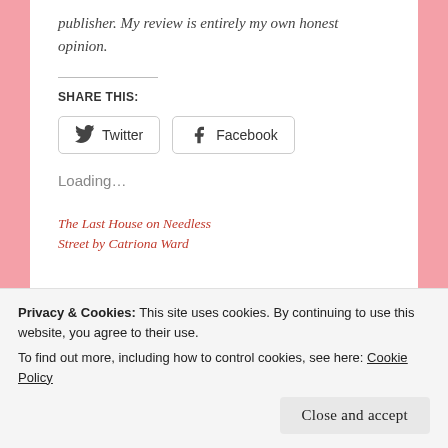publisher. My review is entirely my own honest opinion.
SHARE THIS:
[Figure (infographic): Social share buttons for Twitter and Facebook with icons]
Loading…
The Last House on Needless Street by Catriona Ward
Privacy & Cookies: This site uses cookies. By continuing to use this website, you agree to their use.
To find out more, including how to control cookies, see here: Cookie Policy
Close and accept